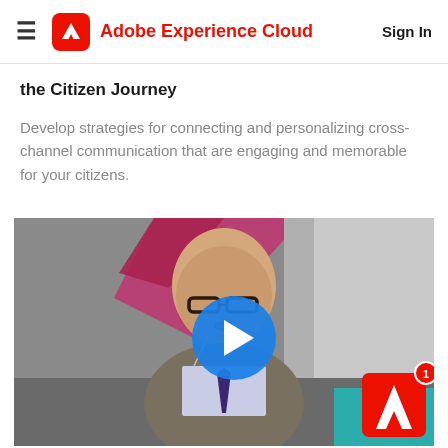Adobe Experience Cloud  Sign In
the Citizen Journey
Develop strategies for connecting and personalizing cross-channel communication that are engaging and memorable for your citizens.
[Figure (screenshot): Video thumbnail showing a bald man with glasses speaking at a conference, with a blue play button overlay in the center. An Adobe logo badge with notification counter '1' appears in the bottom right corner.]